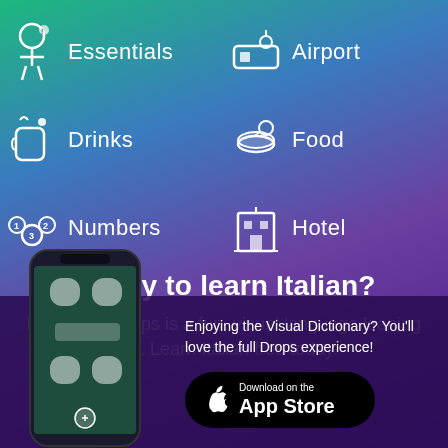[Figure (infographic): App category menu showing icons and labels: Essentials, Airport, Drinks, Food, Numbers, Hotel in a two-column grid on a teal-to-purple gradient background]
Ready to learn Italian?
Language Drops is a fun, visual language learning app. Learn Italian free today.
[Figure (photo): Smartphone mockup showing the Drops app interface with vocabulary items]
Enjoying the Visual Dictionary? You'll love the full Drops experience!
Download on the App Store